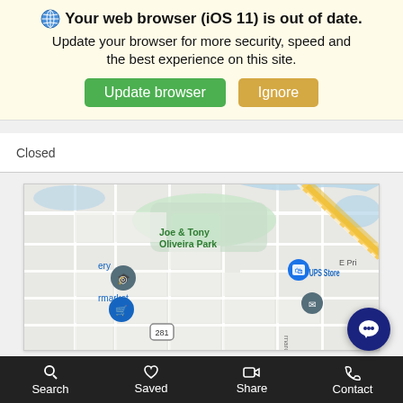Your web browser (iOS 11) is out of date. Update your browser for more security, speed and the best experience on this site.
Update browser | Ignore
Closed
[Figure (map): Google Maps screenshot showing Joe & Tony Oliveira Park, The UPS Store, United States Postal Service, H-E-B, and road 281 in a suburban area]
Search | Saved | Share | Contact